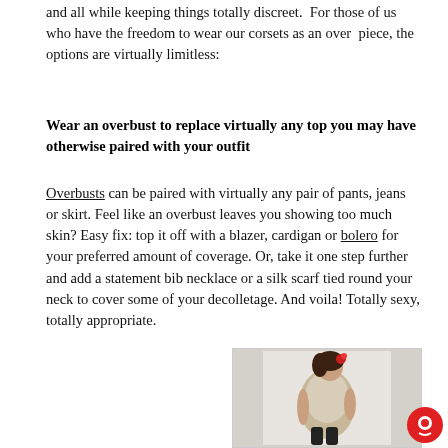and all while keeping things totally discreet.  For those of us who have the freedom to wear our corsets as an over  piece, the options are virtually limitless:
Wear an overbust to replace virtually any top you may have otherwise paired with your outfit
Overbusts can be paired with virtually any pair of pants, jeans or skirt. Feel like an overbust leaves you showing too much skin? Easy fix: top it off with a blazer, cardigan or bolero for your preferred amount of coverage. Or, take it one step further and add a statement bib necklace or a silk scarf tied round your neck to cover some of your decolletage. And voila! Totally sexy, totally appropriate.
[Figure (photo): Woman wearing a corset-style overbust top with dark trousers, posed in a pin-up style with a red flower in her hair.]